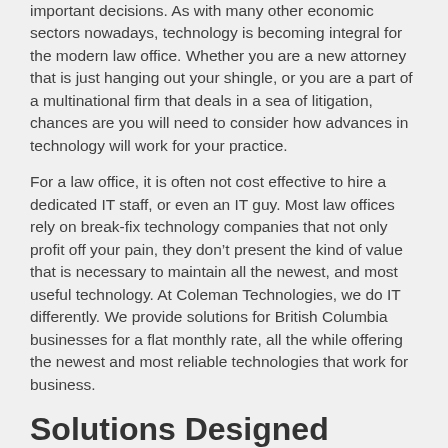important decisions. As with many other economic sectors nowadays, technology is becoming integral for the modern law office. Whether you are a new attorney that is just hanging out your shingle, or you are a part of a multinational firm that deals in a sea of litigation, chances are you will need to consider how advances in technology will work for your practice.
For a law office, it is often not cost effective to hire a dedicated IT staff, or even an IT guy. Most law offices rely on break-fix technology companies that not only profit off your pain, they don’t present the kind of value that is necessary to maintain all the newest, and most useful technology. At Coleman Technologies, we do IT differently. We provide solutions for British Columbia businesses for a flat monthly rate, all the while offering the newest and most reliable technologies that work for business.
Solutions Designed Specifically for You
We offer hardware, software, and hosted solutions that can provide your firm with